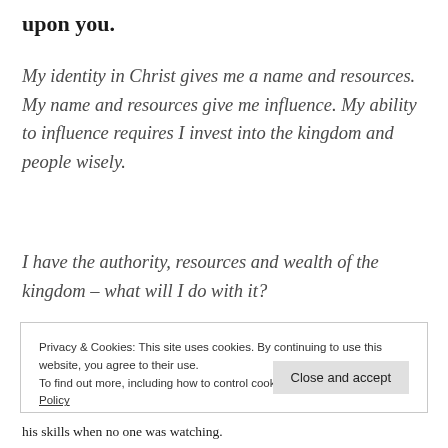upon you.
My identity in Christ gives me a name and resources. My name and resources give me influence. My ability to influence requires I invest into the kingdom and people wisely.
I have the authority, resources and wealth of the kingdom – what will I do with it?
Privacy & Cookies: This site uses cookies. By continuing to use this website, you agree to their use.
To find out more, including how to control cookies, see here: Cookie Policy
his skills when no one was watching.